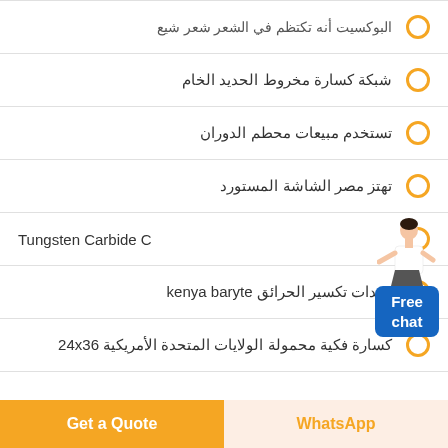البوكسيت أنه تكتظم في الشعر شعر شيع
شبكة كسارة مخروط الحديد الخام
تستخدم مبيعات محطم الدوران
تهتز مصر الشاشة المستورد
Tungsten Carbide C
معدات تكسير الحرائق kenya baryte
كسارة فكية محمولة الولايات المتحدة الأمريكية 24x36
[Figure (illustration): Free chat widget with person illustration and blue button]
Get a Quote
WhatsApp